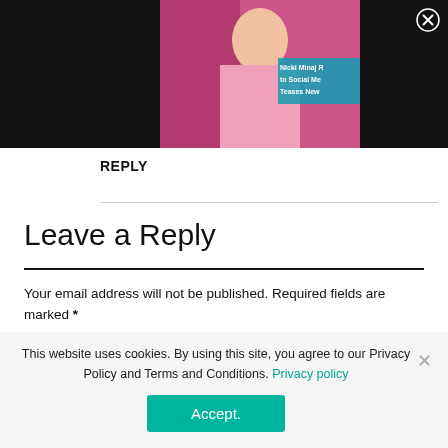[Figure (screenshot): Screenshot of a website page showing a thumbnail photo of Nicki Minaj with overlay text 'Nicki Minaj R to Social Me Teases New' on a dark background, with a close button (X) in the top right corner.]
REPLY
Leave a Reply
Your email address will not be published. Required fields are marked *
COM
This website uses cookies. By using this site, you agree to our Privacy Policy and Terms and Conditions. Privacy policy
Accept.